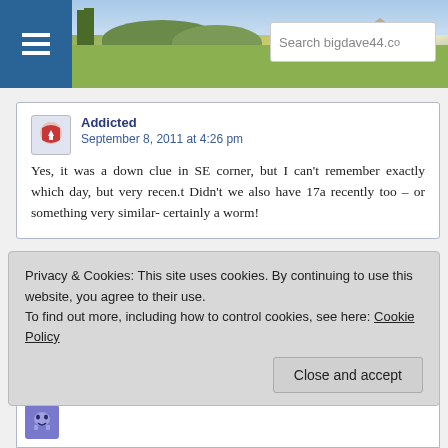[Figure (screenshot): Website header with hamburger menu icon, landscape photo background, and search box showing 'Search bigdave44.co']
Addicted
September 8, 2011 at 4:26 pm
Yes, it was a down clue in SE corner, but I can't remember exactly which day, but very recen.t Didn't we also have 17a recently too – or something very similar- certainly a worm!
Privacy & Cookies: This site uses cookies. By continuing to use this website, you agree to their use.
To find out more, including how to control cookies, see here: Cookie Policy
Close and accept